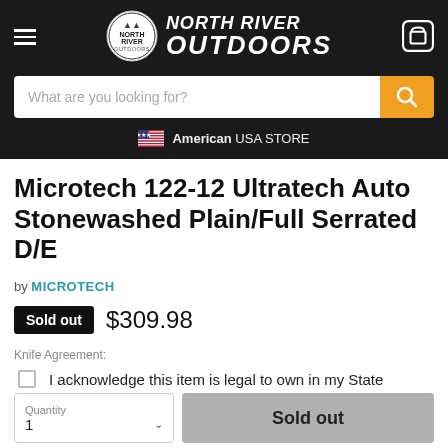North River Outdoors
What are you looking for?
American USA STORE
Microtech 122-12 Ultratech Auto Stonewashed Plain/Full Serrated D/E
by MICROTECH
Sold out $309.98
Knife Agreement:
I acknowledge this item is legal to own in my State
Quantity 1
Sold out